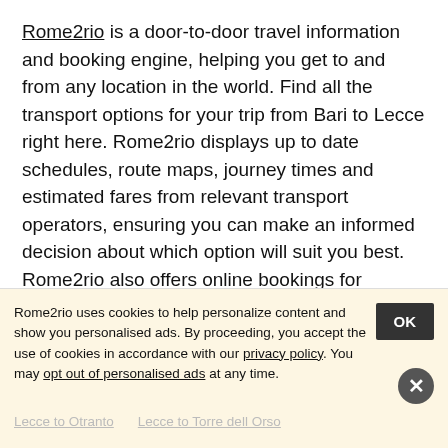Rome2rio is a door-to-door travel information and booking engine, helping you get to and from any location in the world. Find all the transport options for your trip from Bari to Lecce right here. Rome2rio displays up to date schedules, route maps, journey times and estimated fares from relevant transport operators, ensuring you can make an informed decision about which option will suit you best. Rome2rio also offers online bookings for selected operators, making reservations easy and straightforward.
Where to next?
Rome2rio uses cookies to help personalize content and show you personalised ads. By proceeding, you accept the use of cookies in accordance with our privacy policy. You may opt out of personalised ads at any time.
Lecce to Otranto   Lecce to Torre dell Orso